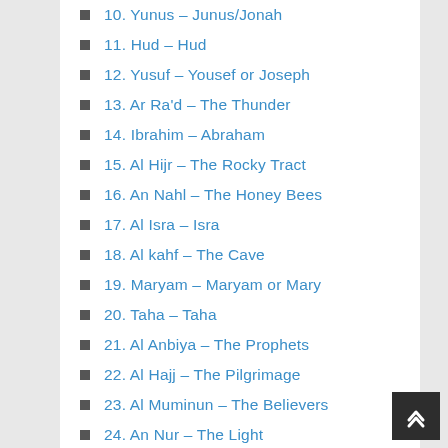10. Yunus – Junus/Jonah
11. Hud – Hud
12. Yusuf – Yousef or Joseph
13. Ar Ra'd – The Thunder
14. Ibrahim – Abraham
15. Al Hijr – The Rocky Tract
16. An Nahl – The Honey Bees
17. Al Isra – Isra
18. Al kahf – The Cave
19. Maryam – Maryam or Mary
20. Taha – Taha
21. Al Anbiya – The Prophets
22. Al Hajj – The Pilgrimage
23. Al Muminun – The Believers
24. An Nur – The Light